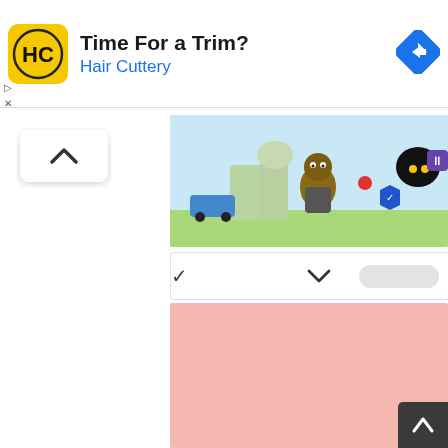[Figure (screenshot): Advertisement banner for Hair Cuttery with yellow HC logo, text 'Time For a Trim?' and 'Hair Cuttery' in blue, and a Google Maps navigation icon on the right.]
[Figure (screenshot): Partial view of a video game scene with cartoon characters on a light blue background.]
[Figure (screenshot): Expand/collapse bar with a downward chevron in the center and a blurred button on the right.]
[Figure (screenshot): Large solid pink/salmon colored rectangular content placeholder block.]